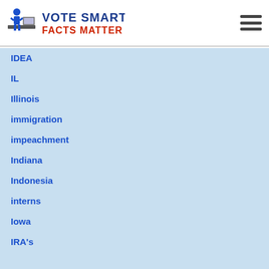[Figure (logo): Vote Smart - Facts Matter logo with icon of person at podium on left, blue text VOTE SMART and red text FACTS MATTER]
IDEA
IL
Illinois
immigration
impeachment
Indiana
Indonesia
interns
Iowa
IRA's